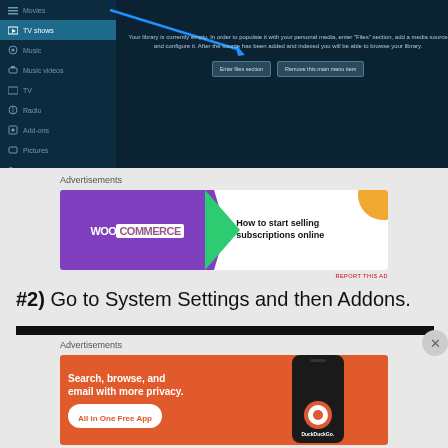[Figure (screenshot): Screenshot of a media player application (Kodi) showing TV shows selected in the left sidebar menu, with a message that the library is currently empty and options to enter files section or remove the main menu item.]
Advertisements
[Figure (photo): WooCommerce advertisement banner: 'How to start selling subscriptions online']
#2) Go to System Settings and then Addons.
Advertisements
[Figure (photo): DuckDuckGo advertisement: 'Search, browse, and email with more privacy. All in One Free App']